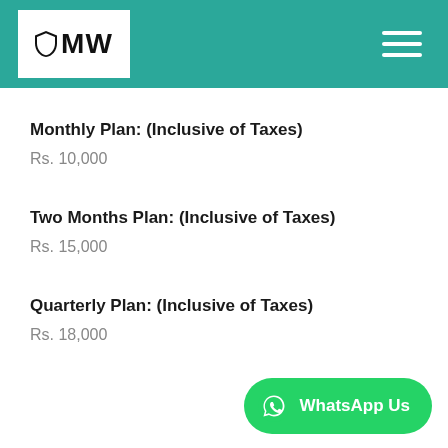MW
Monthly Plan: (Inclusive of Taxes)
Rs. 10,000
Two Months Plan: (Inclusive of Taxes)
Rs. 15,000
Quarterly Plan: (Inclusive of Taxes)
Rs. 18,000